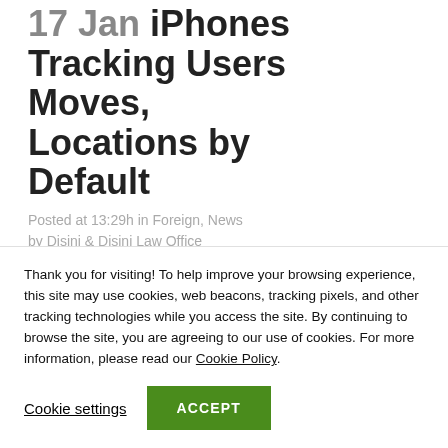17 Jan iPhones Tracking Users Moves, Locations by Default
Posted at 13:29h in Foreign, News by Disini & Disini Law Office
Thank you for visiting! To help improve your browsing experience, this site may use cookies, web beacons, tracking pixels, and other tracking technologies while you access the site. By continuing to browse the site, you are agreeing to our use of cookies. For more information, please read our Cookie Policy.
Cookie settings | ACCEPT